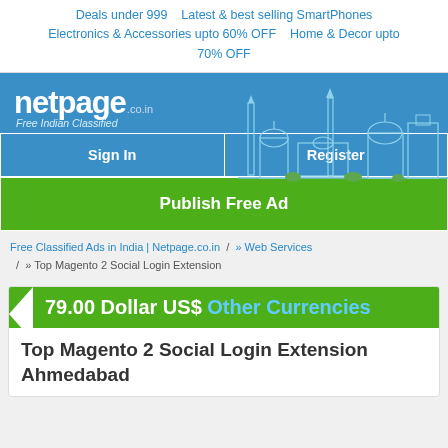Deals under 999   Latest & best selling SmartPhones   Electronics & Accessories upto 60% OFF   Home & Decor upto 70% OFF
[Figure (logo): Netpage.co.in Free Indian Classified logo with Indian city skyline illustration on blue background, with Sign In and Register buttons and Publish Free Ad green button]
Free Classified Ads in India | Netpage.co.in / » Web Services / » Top Magento 2 Social Login Extension
79.00 Dollar US$ Other Currencies
Top Magento 2 Social Login Extension Ahmedabad